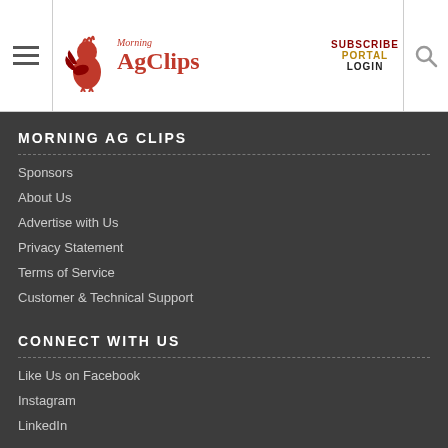Morning Ag Clips — SUBSCRIBE PORTAL LOGIN
MORNING AG CLIPS
Sponsors
About Us
Advertise with Us
Privacy Statement
Terms of Service
Customer & Technical Support
CONNECT WITH US
Like Us on Facebook
Instagram
LinkedIn